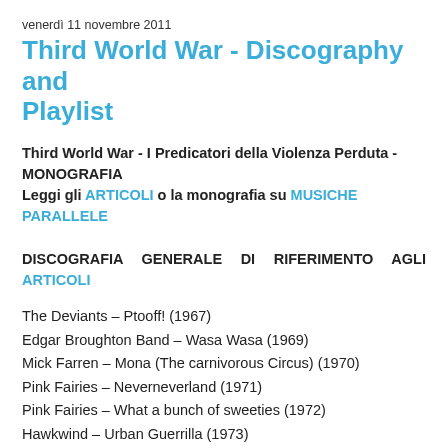venerdì 11 novembre 2011
Third World War - Discography and Playlist
Third World War - I Predicatori della Violenza Perduta - MONOGRAFIA
Leggi gli ARTICOLI o la monografia su MUSICHE PARALLELE
DISCOGRAFIA GENERALE DI RIFERIMENTO AGLI ARTICOLI
The Deviants – Ptooff! (1967)
Edgar Broughton Band – Wasa Wasa (1969)
Mick Farren – Mona (The carnivorous Circus) (1970)
Pink Fairies – Neverneverland (1971)
Pink Fairies – What a bunch of sweeties (1972)
Hawkwind – Urban Guerrilla (1973)
Who – Who's Next (1971)